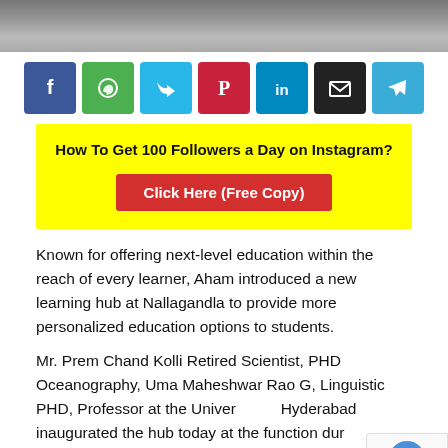[Figure (photo): Photo strip at the top showing people at an event with floral decorations]
[Figure (infographic): Social media share buttons: Facebook, WhatsApp, Twitter, Pinterest, LinkedIn, Email, Telegram]
How To Get 100 Followers a Day on Instagram?
Click Here (Free Copy)
Known for offering next-level education within the reach of every learner, Aham introduced a new learning hub at Nallagandla to provide more personalized education options to students.
Mr. Prem Chand Kolli Retired Scientist, PHD Oceanography, Uma Maheshwar Rao G, Linguistic PHD, Professor at the University of Hyderabad inaugurated the hub today at the function during the 3rd-anniversary celebration of Aham. Aham CEO, Ajitha